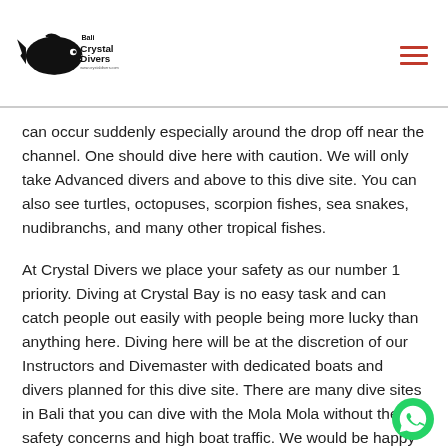Bali Crystal Divers
can occur suddenly especially around the drop off near the channel. One should dive here with caution. We will only take Advanced divers and above to this dive site. You can also see turtles, octopuses, scorpion fishes, sea snakes, nudibranchs, and many other tropical fishes.
At Crystal Divers we place your safety as our number 1 priority. Diving at Crystal Bay is no easy task and can catch people out easily with people being more lucky than anything here. Diving here will be at the discretion of our Instructors and Divemaster with dedicated boats and divers planned for this dive site. There are many dive sites in Bali that you can dive with the Mola Mola without the safety concerns and high boat traffic. We would be happy to advise you accordingly . We thank you in advance for your understanding.